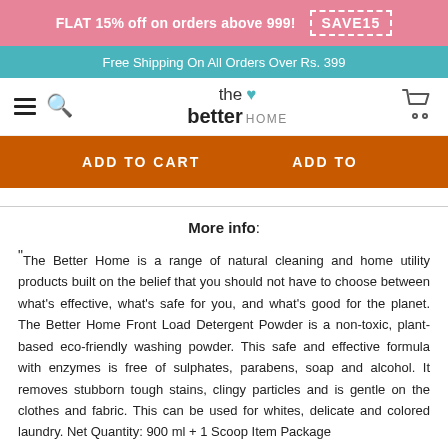FLAT 15% off on orders above 999! SAVE15
Free Shipping On All Orders Over Rs. 399
the better HOME
ADD TO CART      ADD TO
More info:
"The Better Home is a range of natural cleaning and home utility products built on the belief that you should not have to choose between what's effective, what's safe for you, and what's good for the planet. The Better Home Front Load Detergent Powder is a non-toxic, plant-based eco-friendly washing powder. This safe and effective formula with enzymes is free of sulphates, parabens, soap and alcohol. It removes stubborn tough stains, clingy particles and is gentle on the clothes and fabric. This can be used for whites, delicate and colored laundry. Net Quantity: 900 ml + 1 Scoop Item Package